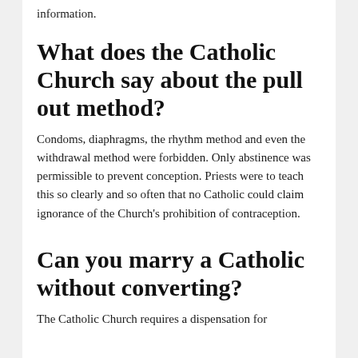information.
What does the Catholic Church say about the pull out method?
Condoms, diaphragms, the rhythm method and even the withdrawal method were forbidden. Only abstinence was permissible to prevent conception. Priests were to teach this so clearly and so often that no Catholic could claim ignorance of the Church's prohibition of contraception.
Can you marry a Catholic without converting?
The Catholic Church requires a dispensation for